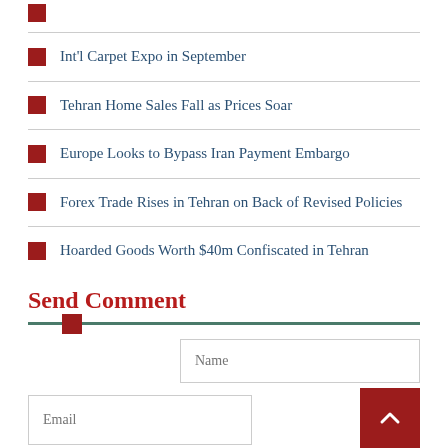Int'l Carpet Expo in September
Tehran Home Sales Fall as Prices Soar
Europe Looks to Bypass Iran Payment Embargo
Forex Trade Rises in Tehran on Back of Revised Policies
Hoarded Goods Worth $40m Confiscated in Tehran
Send Comment